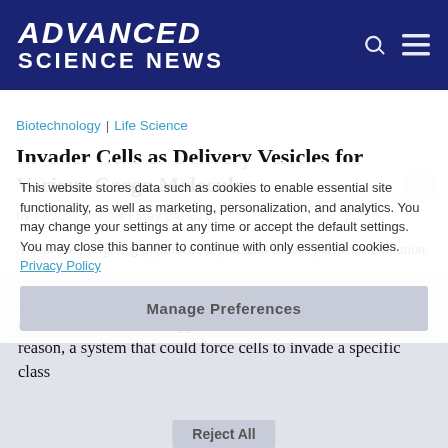ADVANCED SCIENCE NEWS
Biotechnology | Life Science
Invader Cells as Delivery Vesicles for Various Cargo Molecules
by Prisca Henheik | May 24, 2018
A smart cell-targeting approach for potential use in specific cell ablation.
This website stores data such as cookies to enable essential site functionality, as well as marketing, personalization, and analytics. You may change your settings at any time or accept the default settings. You may close this banner to continue with only essential cookies. Privacy Policy
Manage Preferences
Active invasion of a living cell into another living cell is called entosis. Such “trapped” cells are still alive. For this reason, a system that could force cells to invade a specific class